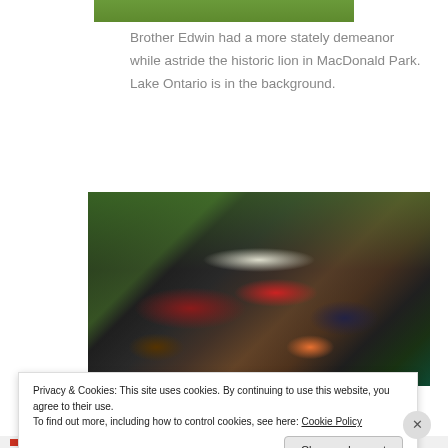[Figure (photo): Top portion of a photo showing green grass/park scene, partially cropped at top of page]
Brother Edwin had a more stately demeanor while astride the historic lion in MacDonald Park. Lake Ontario is in the background.
[Figure (photo): Photo of an outdoor farmers market stall with berries, cherries, blueberries, strawberries, and other fruits displayed in containers with handwritten price signs. Several shoppers visible in background under tent canopies.]
Privacy & Cookies: This site uses cookies. By continuing to use this website, you agree to their use.
To find out more, including how to control cookies, see here: Cookie Policy